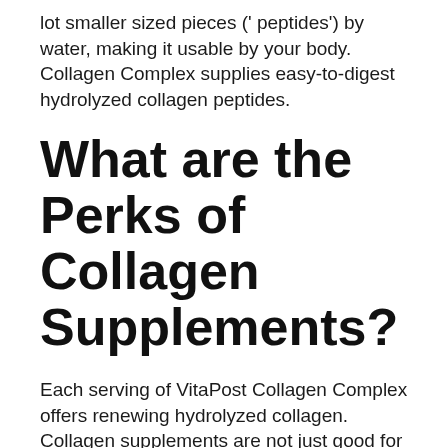lot smaller sized pieces (' peptides') by water, making it usable by your body. Collagen Complex supplies easy-to-digest hydrolyzed collagen peptides.
What are the Perks of Collagen Supplements?
Each serving of VitaPost Collagen Complex offers renewing hydrolyzed collagen. Collagen supplements are not just good for your skin but also for your hair, nails, and also joints. It can help with joint pain as well as joint inflammation along with making you feel a lot more vibrant.